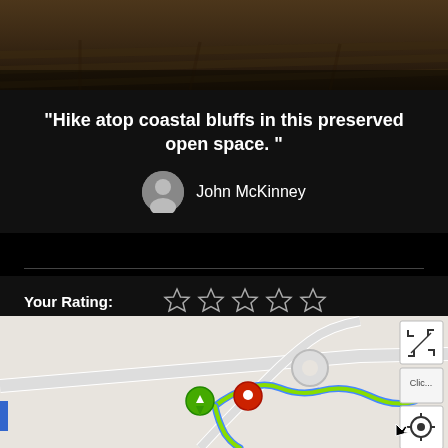[Figure (photo): Dark outdoor photo showing wooden planks or trail surface]
“Hike atop coastal bluffs in this preserved open space.”
John McKinney
Your Rating:
[Figure (infographic): Five empty star icons for user rating]
Your Difficulty:
[Figure (infographic): Difficulty selector icons: green circle, blue circle in square, blue square, blue diamond in square, white diamond outline, white double-diamond outline]
Your Favorites:  Add to Favorites · Your List
[Figure (map): Map showing trail route with green and blue path, red and green location pins, map controls]